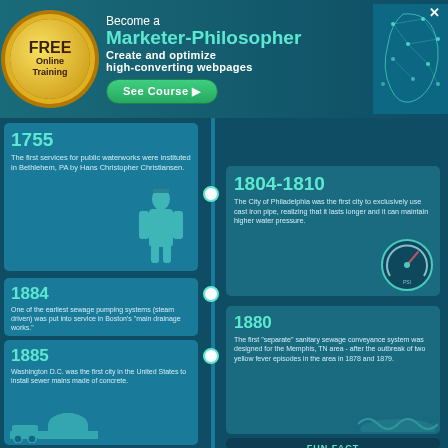[Figure (infographic): Advertisement banner for 'Become a Marketer-Philosopher' online course with gold seal, teal branding, and See Course button]
[Figure (infographic): Historical timeline infographic about public waterworks and sewage systems, dark teal background, with events from 1755 to 1885 and a Fun Fact about wooden pipes]
1755
The first services for public waterworks were instituted in Bethlehem, PA by Hans Christopher Christiansen.
1804-1810
The City of Philadelphia was the first city to exclusively use cast iron pipe, realizing that it lasts longer and it can maintain higher water pressure.
1884
One of the earliest sewage pumping systems (steam driven) was put into service in Boston's 'main drainage works.'
1880
The first 'separate' sanitary sewage conveyance system was designed for the Memphis, TN area - after the outbreak of two yellow fever episodes in the area in 1878 and 1879.
1885
Washington D.C. was the first city in the United States to install sewer mains made of concrete.
FUN FACT
WOODEN PIPES
The first pipes were created from thin strips of wood wrapped with steel braces. The braces were needed to prevent pipe breakage when under pressure, while still tightening the overall pipe system.